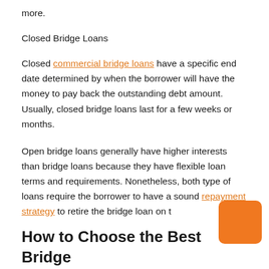more.
Closed Bridge Loans
Closed commercial bridge loans have a specific end date determined by when the borrower will have the money to pay back the outstanding debt amount. Usually, closed bridge loans last for a few weeks or months.
Open bridge loans generally have higher interests than bridge loans because they have flexible loan terms and requirements. Nonetheless, both type of loans require the borrower to have a sound repayment strategy to retire the bridge loan on t
How to Choose the Best Bridge